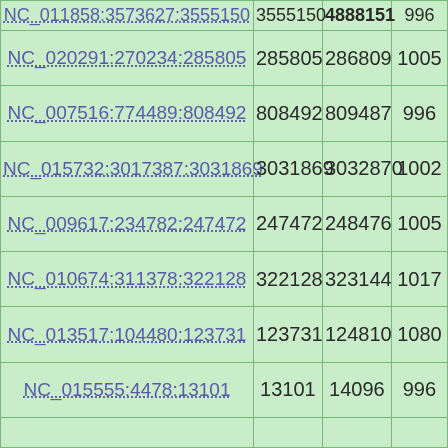|  |  |  |  |
| --- | --- | --- | --- |
| NC_011858:3573627:3555150 | 3555150 | 4888151 | 996 |
| NC_020291:270234:285805 | 285805 | 286809 | 1005 |
| NC_007516:774489:808492 | 808492 | 809487 | 996 |
| NC_015732:3017387:3031869 | 3031869 | 3032870 | 1002 |
| NC_009617:234782:247472 | 247472 | 248476 | 1005 |
| NC_010674:311378:322128 | 322128 | 323144 | 1017 |
| NC_013517:104480:123731 | 123731 | 124810 | 1080 |
| NC_015555:4478:13101 | 13101 | 14096 | 996 |
|  |  |  |  |